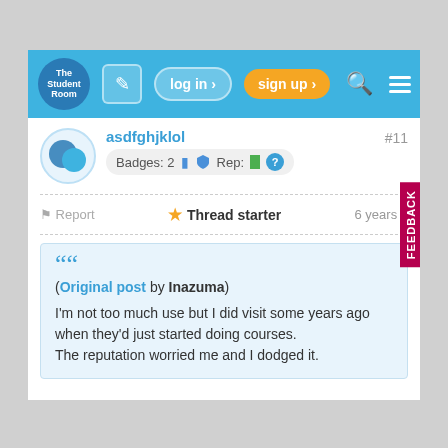The Student Room — log in · sign up
asdfghjklol
Badges: 2  Rep: [green] [?]  #11
Report  ★ Thread starter  6 years a
(Original post by Inazuma)
I'm not too much use but I did visit some years ago when they'd just started doing courses.
The reputation worried me and I dodged it.